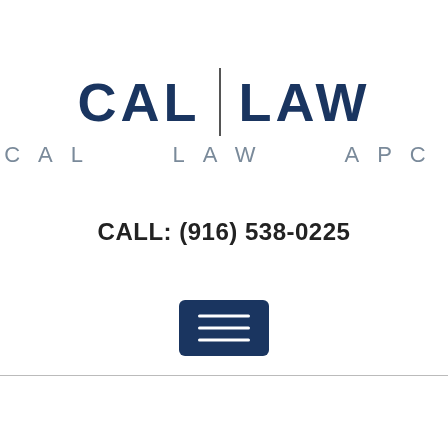[Figure (logo): Cal Law APC logo with bold 'CAL | LAW' text in dark navy blue and vertical divider, with 'CAL LAW APC' subtitle in spaced gray letters below]
CALL: (916) 538-0225
[Figure (other): Dark navy blue hamburger/menu button with three horizontal white lines]